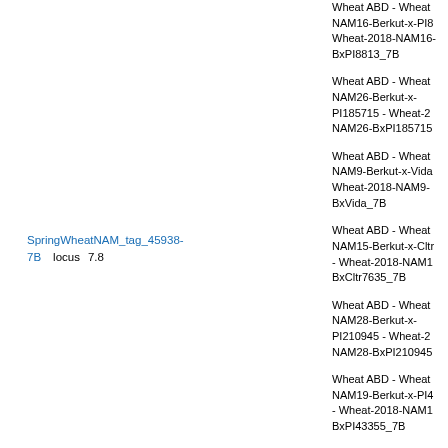SpringWheatNAM_tag_45938-7B    locus    7.8
Wheat ABD - Wheat NAM16-Berkut-x-PI8 Wheat-2018-NAM16-BxPI8813_7B
Wheat ABD - Wheat NAM26-Berkut-x-PI185715 - Wheat-2 NAM26-BxPI185715
Wheat ABD - Wheat NAM9-Berkut-x-Vida Wheat-2018-NAM9-BxVida_7B
Wheat ABD - Wheat NAM15-Berkut-x-Cltr - Wheat-2018-NAM1 BxCltr7635_7B
Wheat ABD - Wheat NAM28-Berkut-x-PI210945 - Wheat-2 NAM28-BxPI210945
Wheat ABD - Wheat NAM19-Berkut-x-PI4 - Wheat-2018-NAM1 BxPI43355_7B
Wheat ABD - Wheat NAM9-Berkut-x-Vida